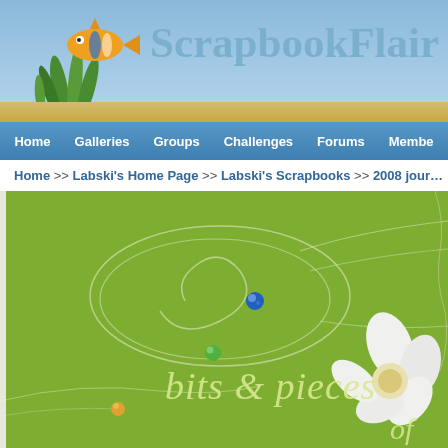ScrapbookFlair — Home | Galleries | Groups | Challenges | Forums | Members
Home >> Labski's Home Page >> Labski's Scrapbooks >> 2008 journ...
[Figure (screenshot): A scrapbook page with green textured background, decorative wire swirls, blue and green glass gem accents, a white flower in the right corner, and cursive text reading 'bits & pieces of']